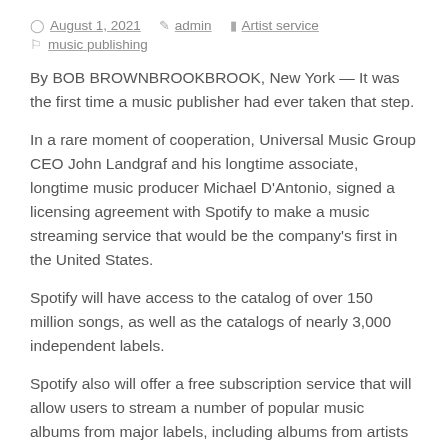August 1, 2021  admin  Artist service  music publishing
By BOB BROWNBROOKBROOK, New York — It was the first time a music publisher had ever taken that step.
In a rare moment of cooperation, Universal Music Group CEO John Landgraf and his longtime associate, longtime music producer Michael D'Antonio, signed a licensing agreement with Spotify to make a music streaming service that would be the company's first in the United States.
Spotify will have access to the catalog of over 150 million songs, as well as the catalogs of nearly 3,000 independent labels.
Spotify also will offer a free subscription service that will allow users to stream a number of popular music albums from major labels, including albums from artists such as Justin